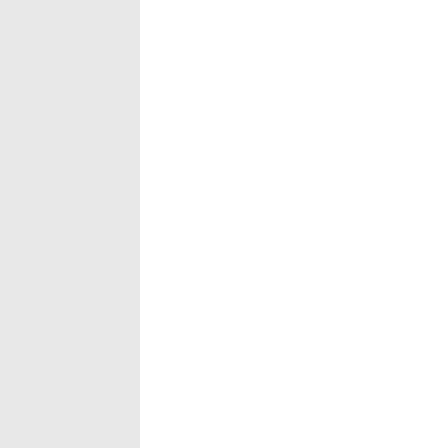he's not lieing it is controle by the gov.mos states would have neveer started it and most the other states would throw i out if they could …so do your homew and